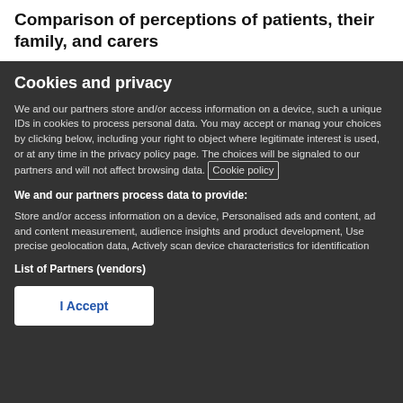Comparison of perceptions of patients, their family, and carers
Cookies and privacy
We and our partners store and/or access information on a device, such a unique IDs in cookies to process personal data. You may accept or manag your choices by clicking below, including your right to object where legitimate interest is used, or at any time in the privacy policy page. The choices will be signaled to our partners and will not affect browsing data. Cookie policy
We and our partners process data to provide:
Store and/or access information on a device, Personalised ads and content, ad and content measurement, audience insights and product development, Use precise geolocation data, Actively scan device characteristics for identification
List of Partners (vendors)
I Accept